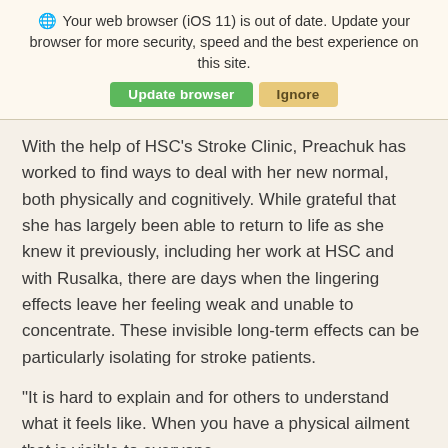[Figure (screenshot): Browser update notification banner with globe icon, message text, and two buttons: 'Update browser' (green) and 'Ignore' (tan/yellow)]
With the help of HSC’s Stroke Clinic, Preachuk has worked to find ways to deal with her new normal, both physically and cognitively. While grateful that she has largely been able to return to life as she knew it previously, including her work at HSC and with Rusalka, there are days when the lingering effects leave her feeling weak and unable to concentrate. These invisible long-term effects can be particularly isolating for stroke patients.
“It is hard to explain and for others to understand what it feels like. When you have a physical ailment that is visible to everyone,